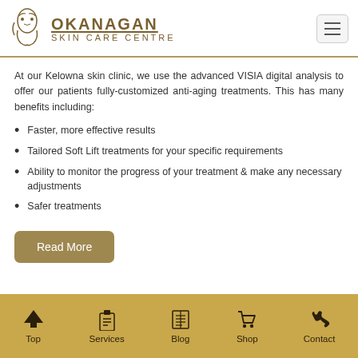Okanagan Skin Care Centre
At our Kelowna skin clinic, we use the advanced VISIA digital analysis to offer our patients fully-customized anti-aging treatments. This has many benefits including:
Faster, more effective results
Tailored Soft Lift treatments for your specific requirements
Ability to monitor the progress of your treatment & make any necessary adjustments
Safer treatments
Read More
Top | Services | Blog | Shop | Contact